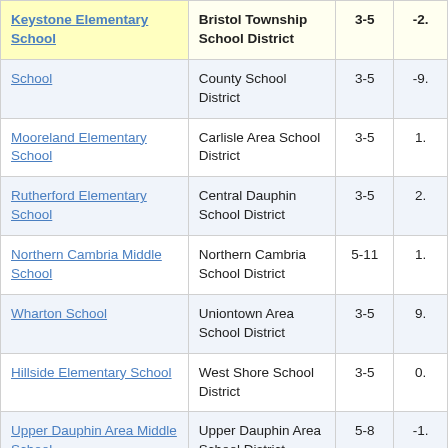| School | District | Grades | Value |
| --- | --- | --- | --- |
| Keystone Elementary School | Bristol Township School District | 3-5 | -2. |
| School | County School District | 3-5 | -9. |
| Mooreland Elementary School | Carlisle Area School District | 3-5 | 1. |
| Rutherford Elementary School | Central Dauphin School District | 3-5 | 2. |
| Northern Cambria Middle School | Northern Cambria School District | 5-11 | 1. |
| Wharton School | Uniontown Area School District | 3-5 | 9. |
| Hillside Elementary School | West Shore School District | 3-5 | 0. |
| Upper Dauphin Area Middle School | Upper Dauphin Area School District | 5-8 | -1. |